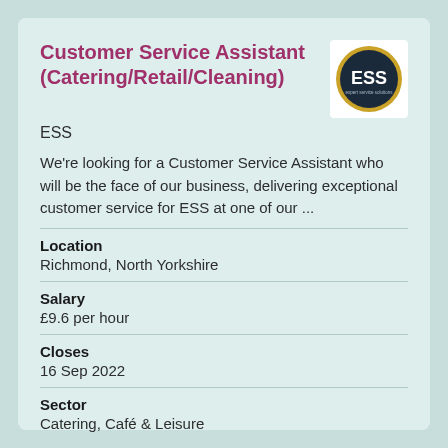Customer Service Assistant (Catering/Retail/Cleaning)
[Figure (logo): ESS company logo — dark navy circle with gold ring border, white 'ESS' text inside]
ESS
We're looking for a Customer Service Assistant who will be the face of our business, delivering exceptional customer service for ESS at one of our ...
Location
Richmond, North Yorkshire
Salary
£9.6 per hour
Closes
16 Sep 2022
Sector
Catering, Café & Leisure